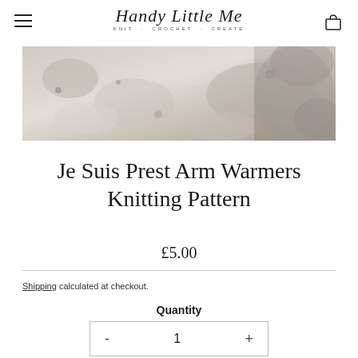Handy Little Me — KNIT · CROCHET · CREATE
[Figure (photo): Close-up photo of a textured stone or rock surface in neutral grey/beige tones]
Je Suis Prest Arm Warmers Knitting Pattern
£5.00
Shipping calculated at checkout.
Quantity
- 1 +